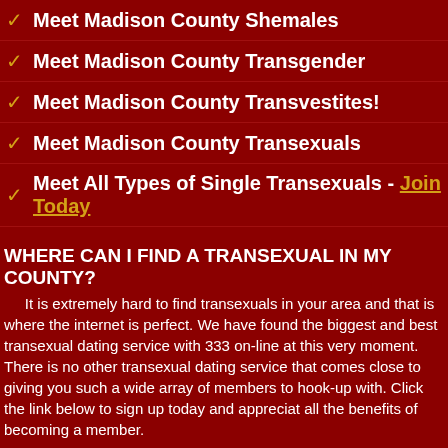Meet Madison County Shemales
Meet Madison County Transgender
Meet Madison County Transvestites!
Meet Madison County Transexuals
Meet All Types of Single Transexuals - Join Today
WHERE CAN I FIND A TRANSEXUAL IN MY COUNTY?
It is extremely hard to find transexuals in your area and that is where the internet is perfect. We have found the biggest and best transexual dating service with 333 on-line at this very moment. There is no other transexual dating service that comes close to giving you such a wide array of members to hook-up with. Click the link below to sign up today and appreciat all the benefits of becoming a member.
Meet a Transexual Today